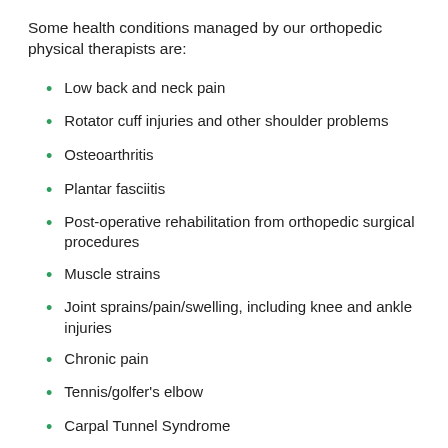Some health conditions managed by our orthopedic physical therapists are:
Low back and neck pain
Rotator cuff injuries and other shoulder problems
Osteoarthritis
Plantar fasciitis
Post-operative rehabilitation from orthopedic surgical procedures
Muscle strains
Joint sprains/pain/swelling, including knee and ankle injuries
Chronic pain
Tennis/golfer's elbow
Carpal Tunnel Syndrome